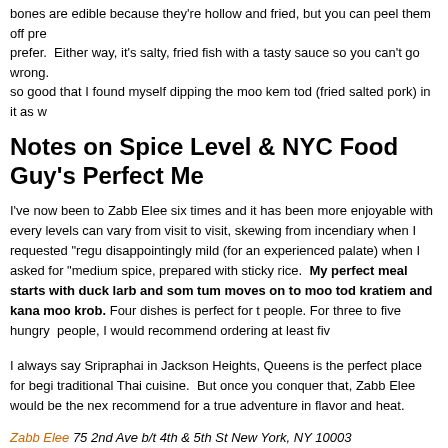bones are edible because they're hollow and fried, but you can peel them off prefer. Either way, it's salty, fried fish with a tasty sauce so you can't go wrong. so good that I found myself dipping the moo kem tod (fried salted pork) in it as w
Notes on Spice Level & NYC Food Guy's Perfect Me
I've now been to Zabb Elee six times and it has been more enjoyable with every levels can vary from visit to visit, skewing from incendiary when I requested "regu disappointingly mild (for an experienced palate) when I asked for "medium spice. prepared with sticky rice. My perfect meal starts with duck larb and som tum moves on to moo tod kratiem and kana moo krob. Four dishes is perfect for t people. For three to five hungry people, I would recommend ordering at least fiv
I always say Sripraphai in Jackson Heights, Queens is the perfect place for begi traditional Thai cuisine. But once you conquer that, Zabb Elee would be the nex recommend for a true adventure in flavor and heat.
Zabb Elee 75 2nd Ave b/t 4th & 5th St New York, NY 10003 212.505.9533,212.5
Posted in EAST VILLAGE, Zabb Elee Thai
2 Responses to "East Village Thai: NYC's Best & Spiciest Thai Y Had at Zabb Elee"
Ben said: